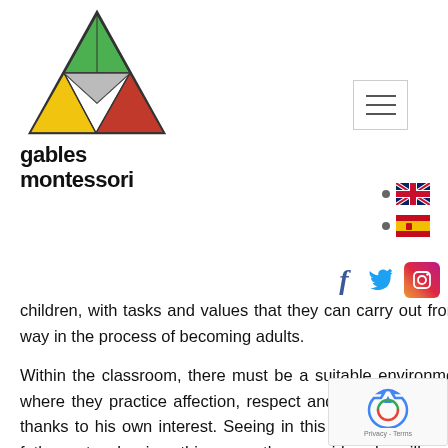[Figure (logo): Gables Montessori logo with colorful triangle divided into smaller triangles (green, red, yellow, gray) above the text 'gables montessori']
[Figure (other): Hamburger menu icon (three horizontal lines) in a bordered box]
[Figure (other): Language selector with UK flag and Spanish flag bullet items]
[Figure (other): Social media icons: Facebook (f), Twitter (bird), Instagram (camera)]
children, with tasks and values that they can carry out from an early age and that molded or instructed them in some way in the process of becoming adults.
Within the classroom, there must be a suitable environment for the child to feel confident and free to learn, a place where they practice affection, respect and discipline, where in turn the didactic materials available to them choose , thanks to his own interest. Seeing in this way that the child possesses in itself the capacities to govern himself. The father or teacher is nothing more than a guide, who will provide you with the tools for your learning.